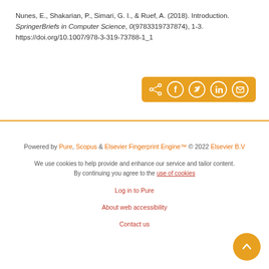Nunes, E., Shakarian, P., Simari, G. I., & Ruef, A. (2018). Introduction. SpringerBriefs in Computer Science, 0(9783319737874), 1-3. https://doi.org/10.1007/978-3-319-73788-1_1
[Figure (other): Social share bar with icons for share, Facebook, Twitter, LinkedIn, and email on an orange/golden background]
Powered by Pure, Scopus & Elsevier Fingerprint Engine™ © 2022 Elsevier B.V
We use cookies to help provide and enhance our service and tailor content. By continuing you agree to the use of cookies
Log in to Pure
About web accessibility
Contact us